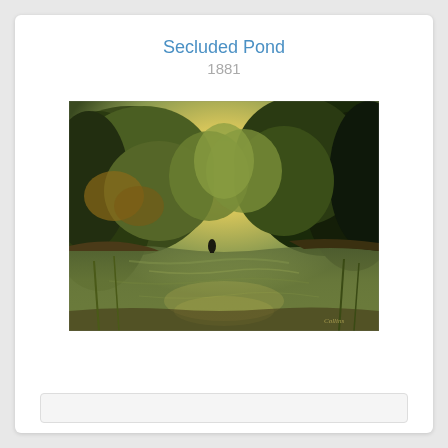Secluded Pond
1881
[Figure (photo): Oil painting titled 'Secluded Pond' from 1881. A serene landscape showing a calm pond or river surrounded by dense green trees and foliage. The sky above the trees glows with a warm golden-yellow light. A small figure stands near the water's edge in the middle distance. The water reflects the trees and sky. The painting has a naturalistic, tranquil atmosphere typical of 19th century landscape art.]